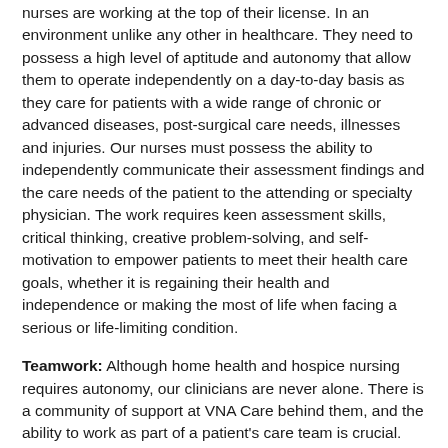nurses are working at the top of their license. In an environment unlike any other in healthcare. They need to possess a high level of aptitude and autonomy that allow them to operate independently on a day-to-day basis as they care for patients with a wide range of chronic or advanced diseases, post-surgical care needs, illnesses and injuries. Our nurses must possess the ability to independently communicate their assessment findings and the care needs of the patient to the attending or specialty physician. The work requires keen assessment skills, critical thinking, creative problem-solving, and self-motivation to empower patients to meet their health care goals, whether it is regaining their health and independence or making the most of life when facing a serious or life-limiting condition.
Teamwork: Although home health and hospice nursing requires autonomy, our clinicians are never alone. There is a community of support at VNA Care behind them, and the ability to work as part of a patient's care team is crucial. Nurses can draw on the expertise of and learn new skills from VNA Care's nurse specialists, including advanced wound care, pleurx catheters, and infusion therapy. They also have the support of their clinical services manager and participate in interdisciplinary collaboration with other members of the team (rehab therapists, social workers, etc.) to provide the best possible patient care.